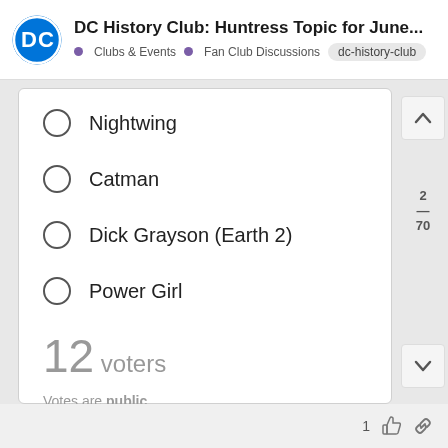DC History Club: Huntress Topic for June... • Clubs & Events • Fan Club Discussions dc-history-club
Nightwing
Catman
Dick Grayson (Earth 2)
Power Girl
12 voters
Votes are public.
Results will be shown on vote.